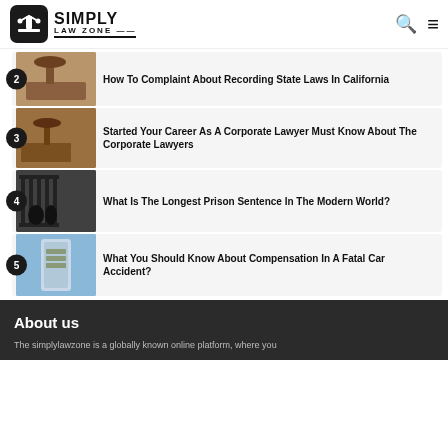SIMPLY LAW ZONE
2 How To Complaint About Recording State Laws In California
3 Started Your Career As A Corporate Lawyer Must Know About The Corporate Lawyers
4 What Is The Longest Prison Sentence In The Modern World?
5 What You Should Know About Compensation In A Fatal Car Accident?
About us
The simplylawzone is a globally known online platform, where you